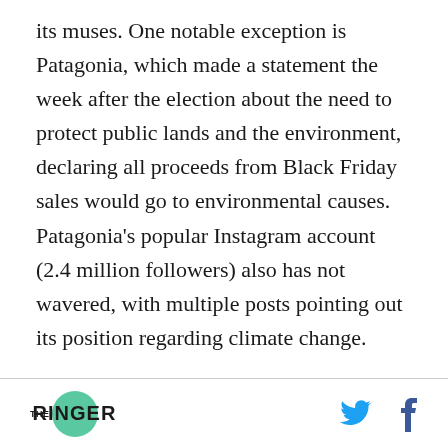its muses. One notable exception is Patagonia, which made a statement the week after the election about the need to protect public lands and the environment, declaring all proceeds from Black Friday sales would go to environmental causes. Patagonia's popular Instagram account (2.4 million followers) also has not wavered, with multiple posts pointing out its position regarding climate change.
"Patagonia has a long history of speaking out for issues we care about. We have a devoted social
THE RINGER